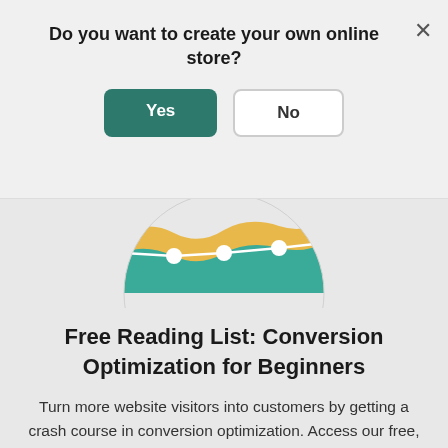Do you want to create your own online store?
Yes
No
[Figure (illustration): Circular icon showing a line chart with teal area fill and gold/yellow upper section, white circular data points on the line, representing a conversion or analytics graph.]
Free Reading List: Conversion Optimization for Beginners
Turn more website visitors into customers by getting a crash course in conversion optimization. Access our free, curated list of high-impact articles below.